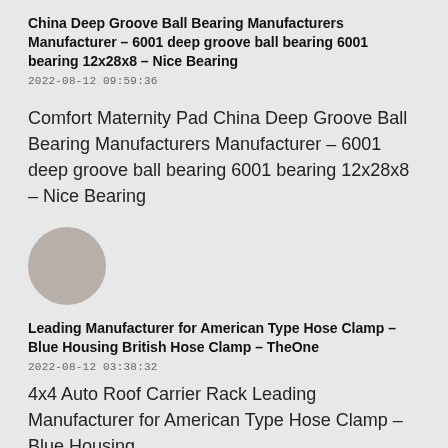China Deep Groove Ball Bearing Manufacturers Manufacturer - 6001 deep groove ball bearing 6001 bearing 12x28x8 - Nice Bearing
2022-08-12 09:59:36
Comfort Maternity Pad China Deep Groove Ball Bearing Manufacturers Manufacturer - 6001 deep groove ball bearing 6001 bearing 12x28x8 - Nice Bearing
[Figure (illustration): A circular avatar placeholder image in a muted brownish-gray color]
Leading Manufacturer for American Type Hose Clamp - Blue Housing British Hose Clamp - TheOne
2022-08-12 03:38:32
4x4 Auto Roof Carrier Rack Leading Manufacturer for American Type Hose Clamp - Blue Housing